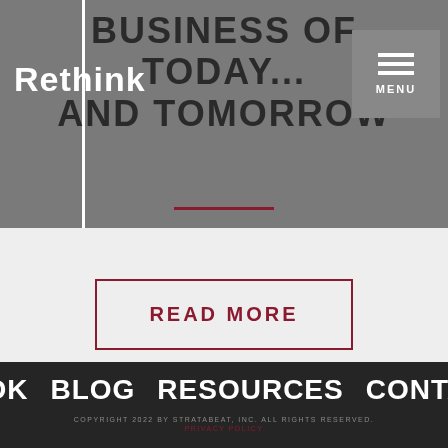BUSINESS OF TODAY... AND TOMORROW
[Figure (logo): Rethink logo in white text with vertical white line on grey background]
[Figure (other): Hamburger menu button with MENU label]
READ MORE
BOOK  BLOG  RESOURCES  CONTACT
COPYRIGHT 2022 BY STRATABEAT, INC. ALL RIGHTS RESERVED.
PRIVACY POLICY